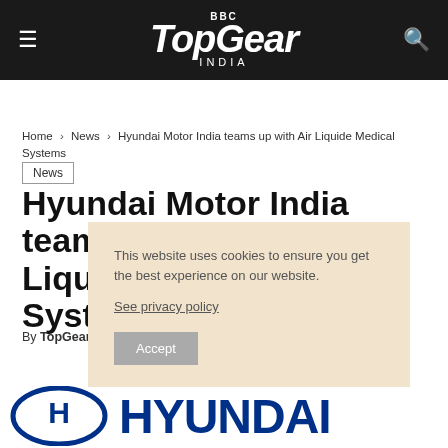BBC TopGear INDIA
Home > News > Hyundai Motor India teams up with Air Liquide Medical Systems
News
Hyundai Motor India teams up with Air Liquide Medical Systems
By TopGear Staff - April 18, 2020
This website uses cookies to ensure you get the best experience on our website. See privacy policy Accept
[Figure (logo): Hyundai logo with oval H emblem and HYUNDAI text in dark navy blue]